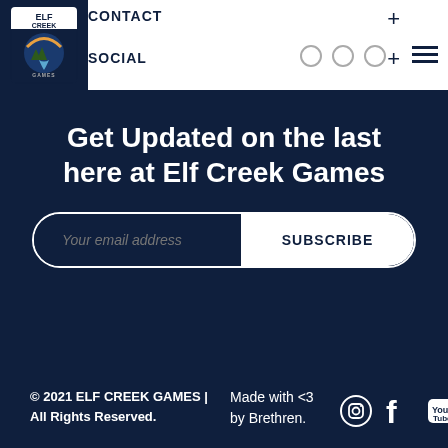CONTACT | SOCIAL
Get Updated on the last here at Elf Creek Games
Your email address | SUBSCRIBE
© 2021 ELF CREEK GAMES | All Rights Reserved.
Made with <3 by Brethren.